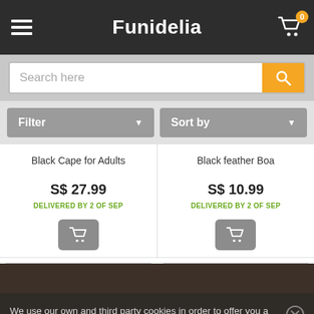Funidelia
Search here
Filter  Sort by
Black Cape for Adults
Black feather Boa
S$ 27.99
DELIVERED BY 2 OF SEP
S$ 10.99
DELIVERED BY 2 OF SEP
We use our own and third party cookies in order to offer you a better service. You accept that by staying at our site. More info